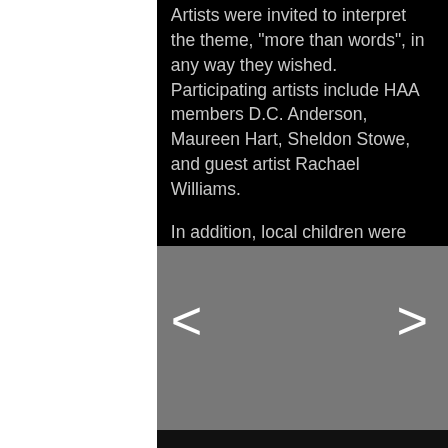Artists were invited to interpret the theme, “more than words”, in any way they wished. Participating artists include HAA members D.C. Anderson, Maureen Hart, Sheldon Stowe, and guest artist Rachael Williams.

In addition, local children were invited to draw scenes from their favorite stories for inclusion in this exhibition.
[Figure (screenshot): Gray slideshow navigation area with white left arrow ('<') on the left and white right arrow ('>') on the right, indicating an image carousel or gallery viewer.]